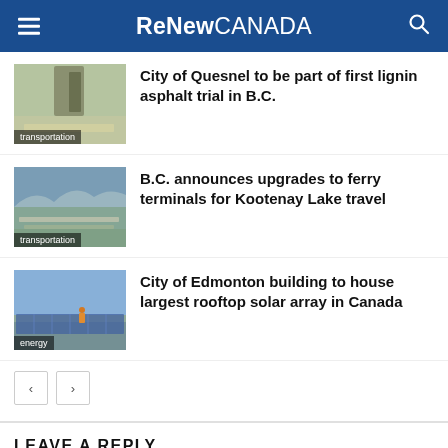ReNew CANADA
City of Quesnel to be part of first lignin asphalt trial in B.C.
B.C. announces upgrades to ferry terminals for Kootenay Lake travel
City of Edmonton building to house largest rooftop solar array in Canada
LEAVE A REPLY